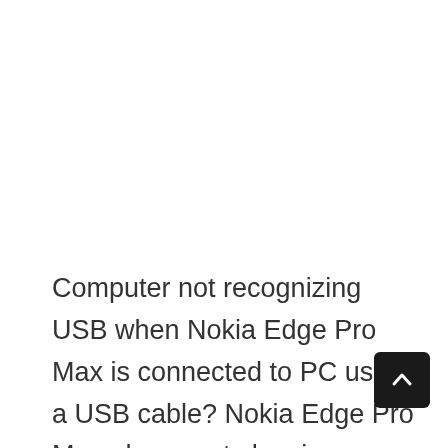Computer not recognizing USB when Nokia Edge Pro Max is connected to PC using a USB cable? Nokia Edge Pro Max phone not showing up on PC? It might be a driver problem, or your computer might be missing the required Nokia Edge Pro Max